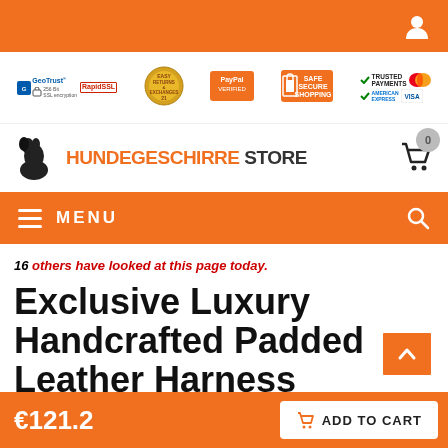Top navigation bar with user icon
[Figure (infographic): Trust badges bar: GeoTrust 256 Bit SSL encryption, RapidSSL, Easy Returns & Exchanges, PayPal Verified, Safe Secure Shopping, Trusted Payments, MasterCard, American Express, Visa]
[Figure (logo): Hundegeschirre Store logo with black dog silhouette, orange HUNDEGESCHIRRE text, dark STORE text, and shopping cart with 0 badge]
MENU
16 others have looked at this page today.
Exclusive Luxury Handcrafted Padded Leather Harness
€121.2  ADD TO CART